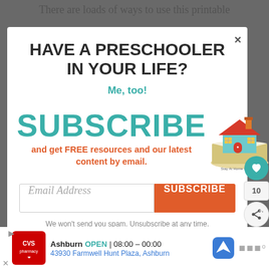There are loads of ways to use this printable
HAVE A PRESCHOOLER IN YOUR LIFE?
Me, too!
SUBSCRIBE
and get FREE resources and our latest content by email.
[Figure (illustration): Stay At Home Educator logo: a house on an open book]
Email Address
SUBSCRIBE
We won't send you spam. Unsubscribe at any time.
Powered by ConvertKit
Ashburn  OPEN | 08:00 – 00:00  43930 Farmwell Hunt Plaza, Ashburn